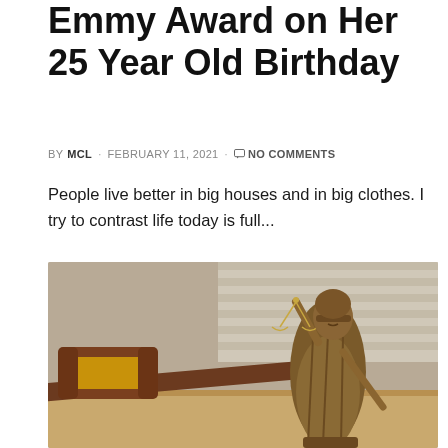Emmy Award on Her 25 Year Old Birthday
BY MCL · FEBRUARY 11, 2021 · NO COMMENTS
People live better in big houses and in big clothes. I try to contrast life today is full...
[Figure (photo): Bronze Lady Justice statue holding scales, with a wooden judge's gavel in the background on a wooden surface]